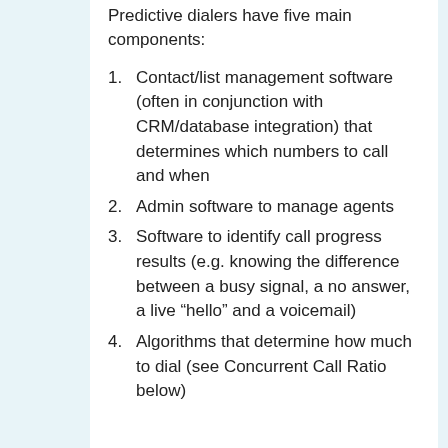Predictive dialers have five main components:
Contact/list management software (often in conjunction with CRM/database integration) that determines which numbers to call and when
Admin software to manage agents
Software to identify call progress results (e.g. knowing the difference between a busy signal, a no answer, a live “hello” and a voicemail)
Algorithms that determine how much to dial (see Concurrent Call Ratio below)